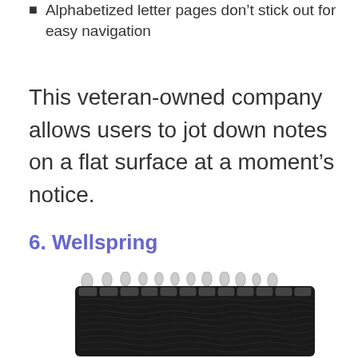Alphabetized letter pages don't stick out for easy navigation
This veteran-owned company allows users to jot down notes on a flat surface at a moment's notice.
6. Wellspring
[Figure (photo): A black spiral-bound notebook with textured cover and alphabetized tabs visible at the top, shown from above at a slight angle]